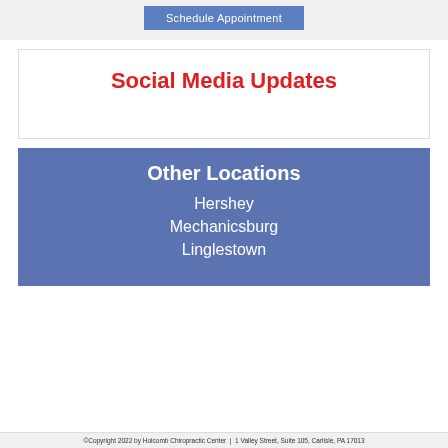Schedule Appointment
Social Media Updates
Other Locations
Hershey
Mechanicsburg
Linglestown
©Copyright 2022 by Holcomb Chiropractic Center  |  1 Valley Street, Suite 105, Carlisle, PA 17013